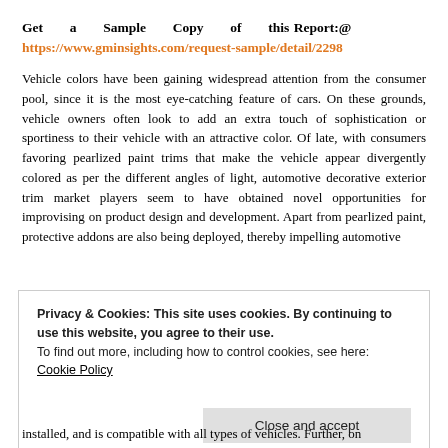Get a Sample Copy of this Report:@ https://www.gminsights.com/request-sample/detail/2298
Vehicle colors have been gaining widespread attention from the consumer pool, since it is the most eye-catching feature of cars. On these grounds, vehicle owners often look to add an extra touch of sophistication or sportiness to their vehicle with an attractive color. Of late, with consumers favoring pearlized paint trims that make the vehicle appear divergently colored as per the different angles of light, automotive decorative exterior trim market players seem to have obtained novel opportunities for improvising on product design and development. Apart from pearlized paint, protective addons are also being deployed, thereby impelling automotive
Privacy & Cookies: This site uses cookies. By continuing to use this website, you agree to their use.
To find out more, including how to control cookies, see here: Cookie Policy
Close and accept
installed, and is compatible with all types of vehicles. Further, on